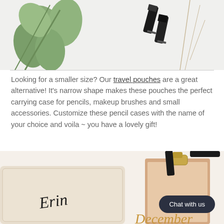[Figure (photo): Flat-lay photo of green eucalyptus leaves and two black lipstick tubes on a white background, with dried grass sprigs.]
Looking for a smaller size? Our travel pouches are a great alternative! It's narrow shape makes these pouches the perfect carrying case for pencils, makeup brushes and small accessories. Customize these pencil cases with the name of your choice and voila ~ you have a lovely gift!
[Figure (photo): Photo of a personalized canvas pouch with the name 'Erin' in black script, a clipboard, lipstick, and partial view of 'December' script in gold. A dark rounded 'Chat with us' button overlay is visible.]